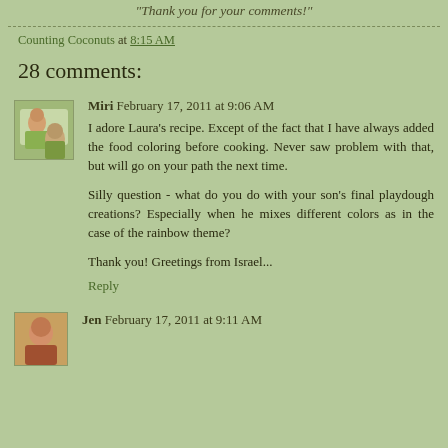"Thank you for your comments!"
Counting Coconuts at 8:15 AM
28 comments:
Miri February 17, 2011 at 9:06 AM
I adore Laura's recipe. Except of the fact that I have always added the food coloring before cooking. Never saw problem with that, but will go on your path the next time.

Silly question - what do you do with your son's final playdough creations? Especially when he mixes different colors as in the case of the rainbow theme?

Thank you! Greetings from Israel...
Reply
Jen February 17, 2011 at 9:11 AM